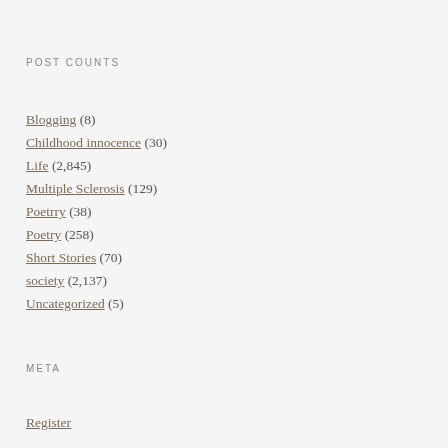POST COUNTS
Blogging (8)
Childhood innocence (30)
Life (2,845)
Multiple Sclerosis (129)
Poetrry (38)
Poetry (258)
Short Stories (70)
society (2,137)
Uncategorized (5)
META
Register